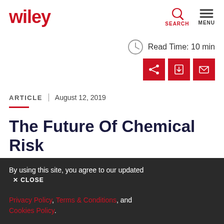wiley | SEARCH | MENU
Read Time: 10 min
ARTICLE | August 12, 2019
The Future Of Chemical Risk Evaluations Under TSCA
By using this site, you agree to our updated Privacy Policy, Terms & Conditions, and Cookies Policy.